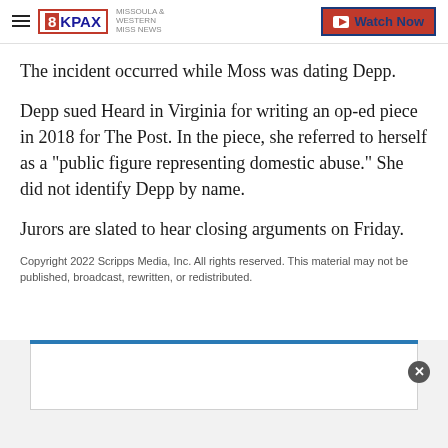8KPAX | Watch Now
The incident occurred while Moss was dating Depp.
Depp sued Heard in Virginia for writing an op-ed piece in 2018 for The Post. In the piece, she referred to herself as a "public figure representing domestic abuse." She did not identify Depp by name.
Jurors are slated to hear closing arguments on Friday.
Copyright 2022 Scripps Media, Inc. All rights reserved. This material may not be published, broadcast, rewritten, or redistributed.
[Figure (other): Advertisement banner with blue top bar and white content area with a close button]